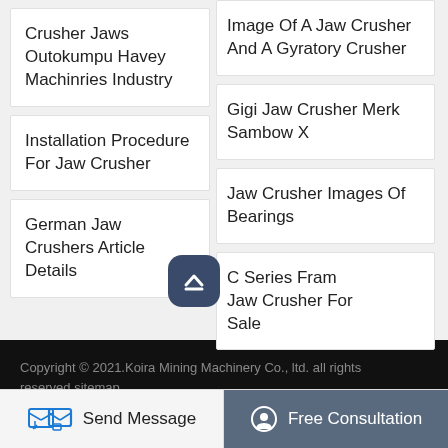Crusher Jaws Outokumpu Havey Machinries Industry
Image Of A Jaw Crusher And A Gyratory Crusher
Installation Procedure For Jaw Crusher
Gigi Jaw Crusher Merk Sambow X
German Jaw Crushers Article Details
Jaw Crusher Images Of Bearings
C Series Fram Jaw Crusher For Sale
Copyright © 2021.Koira Mining Machinery Co., ltd. all rights reserved.sitemap
Send Message
Free Consultation